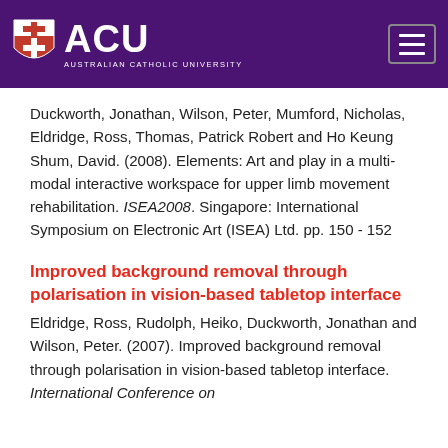[Figure (logo): ACU - Australian Catholic University logo with shield icon on purple background, and hamburger menu button on the right]
Duckworth, Jonathan, Wilson, Peter, Mumford, Nicholas, Eldridge, Ross, Thomas, Patrick Robert and Ho Keung Shum, David. (2008). Elements: Art and play in a multi-modal interactive workspace for upper limb movement rehabilitation. ISEA2008. Singapore: International Symposium on Electronic Art (ISEA) Ltd. pp. 150 - 152
Improved background removal through polarisation in vision-based tabletop interface
Eldridge, Ross, Rudolph, Heiko, Duckworth, Jonathan and Wilson, Peter. (2007). Improved background removal through polarisation in vision-based tabletop interface. International Conference on